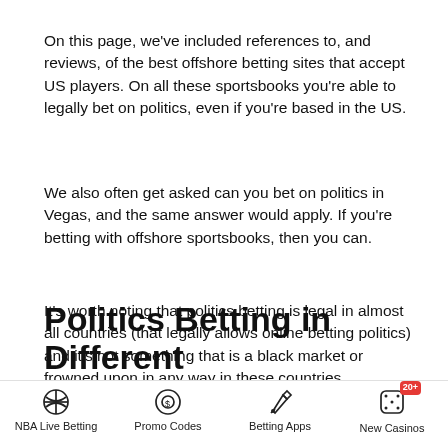On this page, we've included references to, and reviews, of the best offshore betting sites that accept US players. On all these sportsbooks you're able to legally bet on politics, even if you're based in the US.
We also often get asked can you bet on politics in Vegas, and the same answer would apply. If you're betting with offshore sportsbooks, then you can.
It's worth noting that politics betting is legal in almost all countries (that legally allows online betting politics) and it's not something that is a black market or frowned upon in any way in these countries.
Politics Betting in Different
NBA Live Betting | Promo Codes | Betting Apps | New Casinos